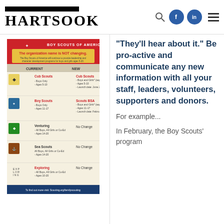HARTSOOK
[Figure (infographic): Boy Scouts of America program changes infographic showing current vs new program names for Cub Scouts, Boy Scouts, Venturing, Sea Scouts, and Exploring]
“They’ll hear about it.” Be pro-active and communicate any new information with all your staff, leaders, volunteers, supporters and donors.
For example...
In February, the Boy Scouts’ program